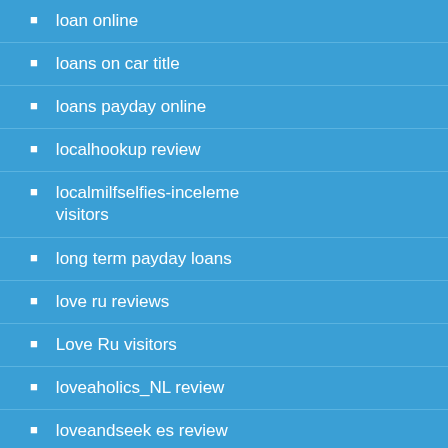loan online
loans on car title
loans payday online
localhookup review
localmilfselfies-inceleme visitors
long term payday loans
love ru reviews
Love Ru visitors
loveaholics_NL review
loveandseek es review
Loveandseek hookup website
loveandseek review